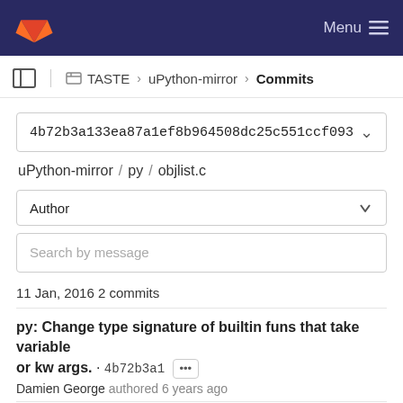GitLab navigation header with logo and Menu button
TASTE › uPython-mirror › Commits
4b72b3a133ea87a1ef8b964508dc25c551ccf093
uPython-mirror / py / objlist.c
Author
Search by message
11 Jan, 2016 2 commits
py: Change type signature of builtin funs that take variable or kw args. · 4b72b3a1 ••• Damien George authored 6 years ago
py: Change type of .make_new and .call args: mp_uint_t becomes size_t · e0e07814